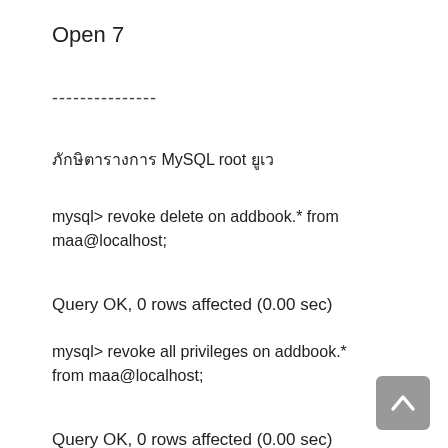Open 7
---------------
ภ ์ก ัใ ขMySQLrootกีใ ่
mysql> revoke delete on addbook.* from maa@localhost;
Query OK, 0 rows affected (0.00 sec)
mysql> revoke all privileges on addbook.* from maa@localhost;
Query OK, 0 rows affected (0.00 sec)